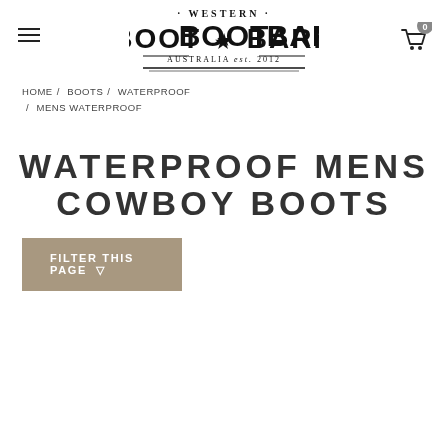[Figure (logo): Western Boot Barn Australia est. 2012 logo with distressed font style]
HOME / BOOTS / WATERPROOF / MENS WATERPROOF
WATERPROOF MENS COWBOY BOOTS
FILTER THIS PAGE ▽